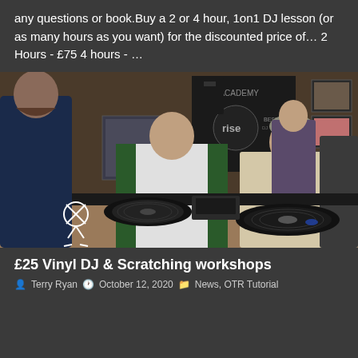any questions or book.Buy a 2 or 4 hour, 1on1 DJ lesson (or as many hours as you want) for the discounted price of… 2 Hours - £75 4 hours - …
[Figure (photo): Photo of people at DJ turntables in a music studio/DJ academy. Two men are scratching vinyl records on turntables. Background shows a DJ academy sign, merchandise, and framed artwork on walls.]
£25 Vinyl DJ & Scratching workshops
Terry Ryan  October 12, 2020  News, OTR Tutorial